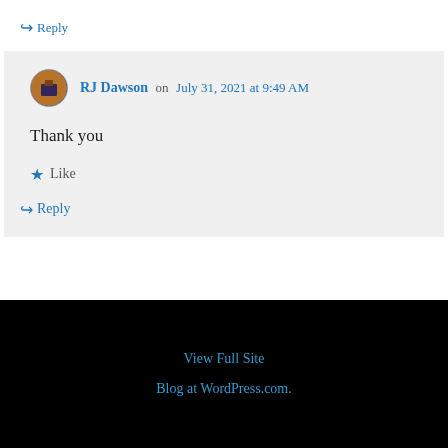↪ Reply
RJ Dawson on July 31, 2021 at 9:49 AM
Thank you
★ Like
↪ Reply
View Full Site
Blog at WordPress.com.